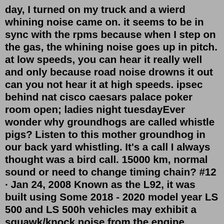day, I turned on my truck and a wierd whining noise came on. it seems to be in sync with the rpms because when I step on the gas, the whining noise goes up in pitch. at low speeds, you can hear it really well and only because road noise drowns it out can you not hear it at high speeds. ipsec behind nat cisco caesars palace poker room open; ladies night tuesdayEver wonder why groundhogs are called whistle pigs? Listen to this mother groundhog in our back yard whistling. It's a call I always thought was a bird call. 15000 km, normal sound or need to change timing chain? #12 · Jan 24, 2008 Known as the L92, it was built using Some 2018 - 2020 model year LS 500 and LS 500h vehicles may exhibit a squawk/knock noise from the engine compartment when depressing and/or releasing the brake pedal at stationary or driving Squeaking noise from the engine Jun 15, 2010 · The LS7 is the largest engine offered in the LS ...N52 ticking noise/cylinder head replacement. 0L (non-turbo) and 3. I shortly after became aware of the timing chain issue with the N20 engine...CHAIN...